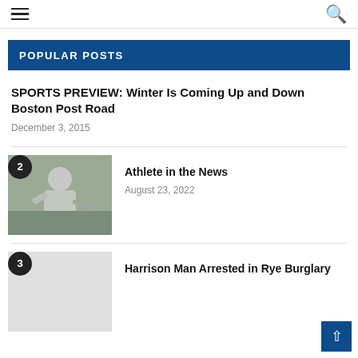Navigation header with hamburger menu and search icon
POPULAR POSTS
SPORTS PREVIEW: Winter Is Coming Up and Down Boston Post Road
December 3, 2015
[Figure (photo): Golfer swinging a golf club, wearing gray top and white cap, numbered badge '2']
Athlete in the News
August 23, 2022
[Figure (photo): Placeholder image for third post, numbered badge '3']
Harrison Man Arrested in Rye Burglary